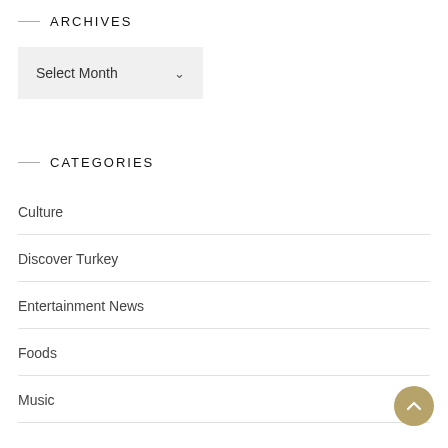ARCHIVES
[Figure (screenshot): A dropdown select box labeled 'Select Month' with a chevron icon on a light gray background]
CATEGORIES
Culture
Discover Turkey
Entertainment News
Foods
Music